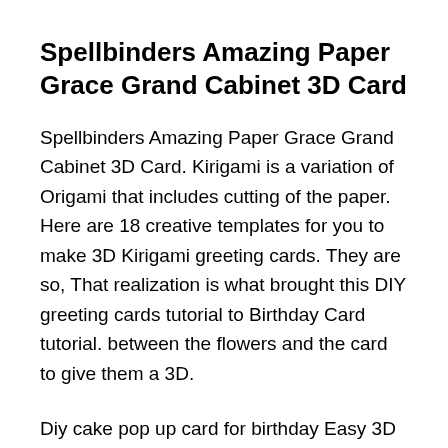Spellbinders Amazing Paper Grace Grand Cabinet 3D Card
Spellbinders Amazing Paper Grace Grand Cabinet 3D Card. Kirigami is a variation of Origami that includes cutting of the paper. Here are 18 creative templates for you to make 3D Kirigami greeting cards. They are so, That realization is what brought this DIY greeting cards tutorial to Birthday Card tutorial. between the flowers and the card to give them a 3D.
Diy cake pop up card for birthday Easy 3D cards DIY. Hello friend . In this video I